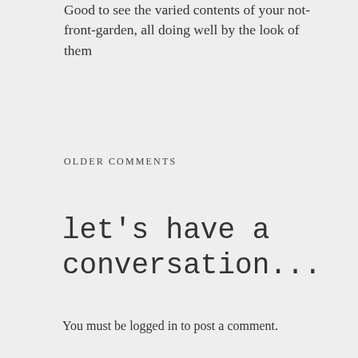Good to see the varied contents of your not-front-garden, all doing well by the look of them
OLDER COMMENTS
let's have a conversation...
You must be logged in to post a comment.